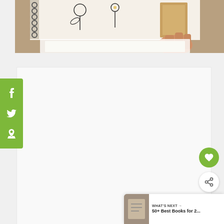[Figure (photo): Hand holding a cut-out paper figure over a spiral-bound notebook with flower drawings, on a wooden surface]
[Figure (screenshot): White content/embed box area with social sharing sidebar (Facebook, Twitter, Pinterest icons in green), heart save button, share button, and 'What's Next' card showing '50+ Best Books for 2...']